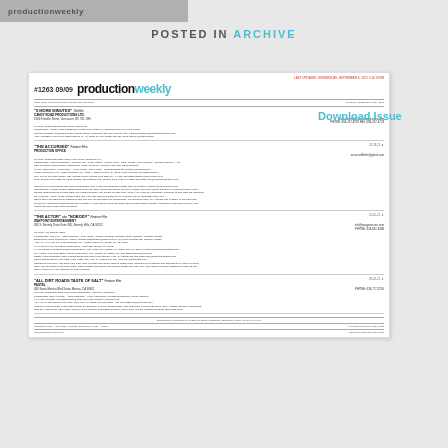productionweekly
POSTED IN ARCHIVE
[Figure (screenshot): Scanned page of Production Weekly issue #1263 09/09 showing film and TV production listings including '5 More Minutes', 'The Accursed', 'The Actor' aka 'Nobody', and 'All Dirt Roads Taste of Salt'.]
Download Issue